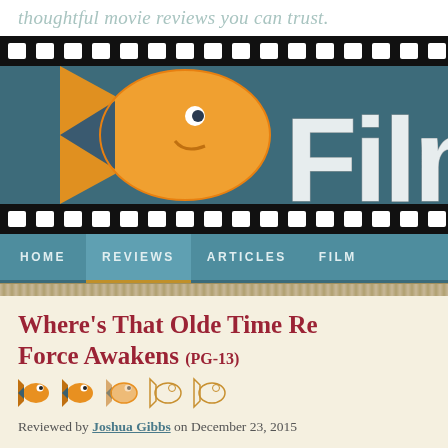thoughtful movie reviews you can trust.
[Figure (logo): Film Fish website logo with film strip, orange fish graphic, and large 'Film F' text on teal/dark blue background]
HOME  REVIEWS  ARTICLES  FILM
Where's That Olde Time Re... Force Awakens (PG-13)
[Figure (illustration): 5 fish rating icons: 2.5 out of 5 fish shown as orange filled fish and outline fish]
Reviewed by Joshua Gibbs on December 23, 2015
I suspect I am not unique in claiming to have had serious conversations with friends in the wee hours of the morning